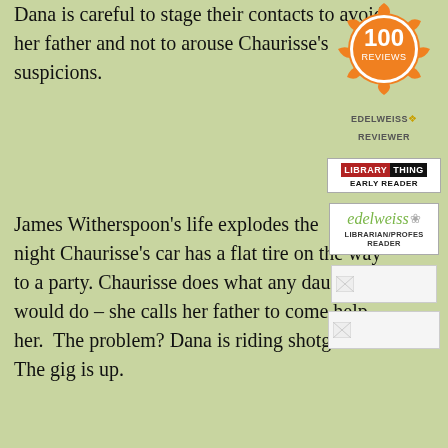Dana is careful to stage their contacts to avoid her father and not to arouse Chaurisse's suspicions.
[Figure (illustration): Orange badge with '100 REVIEWS' text in a flower/gear shape]
[Figure (logo): EDELWEISS leaf REVIEWER text logo]
James Witherspoon's life explodes the same night Chaurisse's car has a flat tire on the way to a party. Chaurisse does what any daughter would do – she calls her father to come help her. The problem? Dana is riding shotgun. The gig is up.
[Figure (logo): LibraryThing EARLY READER badge]
[Figure (logo): edelweiss LIBRARIAN/PROFESSIONAL READER badge]
The two worlds collide and the fallout warps each player as they find their place on the new chessboard. In the end, James and Laverne reconcile and plan a recommitment ceremony. Gwen
[Figure (photo): Small broken image placeholder]
[Figure (photo): Small broken image placeholder]